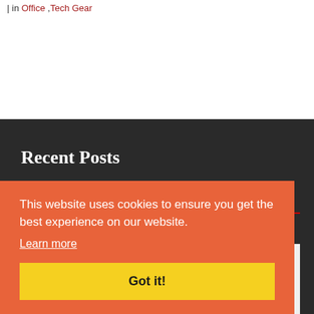| in Office ,Tech Gear
Recent Posts
This website uses cookies to ensure you get the best experience on our website.
Learn more
Got it!